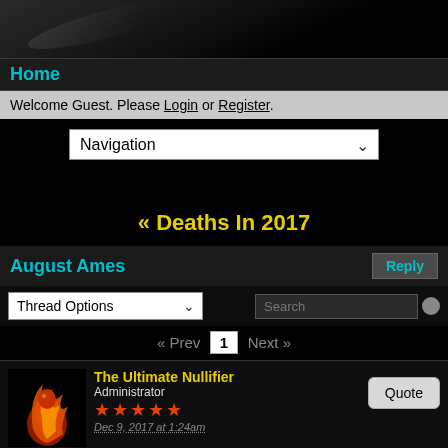[Figure (screenshot): Forum header with dark gradient background]
Home
Welcome Guest. Please Login or Register.
Navigation (dropdown)
« Deaths In 2017
August Ames
Thread Options | Search
« Prev  1  Next »
The Ultimate Nullifier
Administrator
★★★★★
Dec 9, 2017 at 1:24am
www.huffingtonpost.com/entry/porn-star-august-ames-